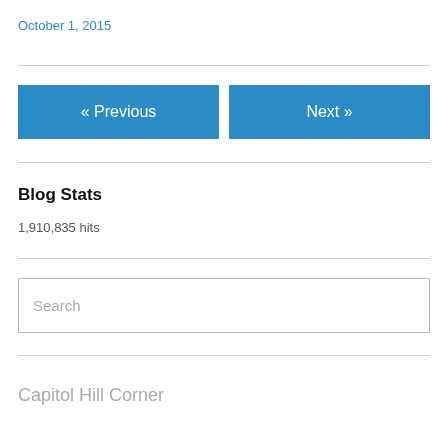October 1, 2015
« Previous
Next »
Blog Stats
1,910,835 hits
Search
Capitol Hill Corner